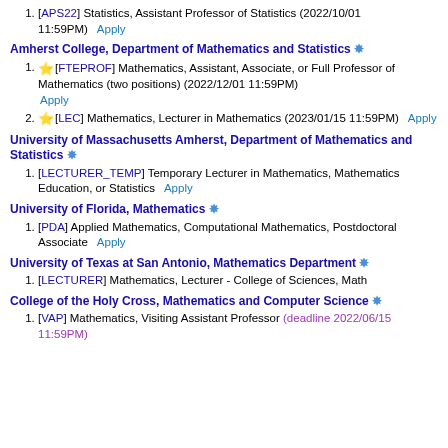[APS22] Statistics, Assistant Professor of Statistics (2022/10/01 11:59PM)   Apply
Amherst College, Department of Mathematics and Statistics ✦
★[FTEPROF] Mathematics, Assistant, Associate, or Full Professor of Mathematics (two positions) (2022/12/01 11:59PM) Apply
★[LEC] Mathematics, Lecturer in Mathematics (2023/01/15 11:59PM)   Apply
University of Massachusetts Amherst, Department of Mathematics and Statistics ✦
[LECTURER_TEMP] Temporary Lecturer in Mathematics, Mathematics Education, or Statistics   Apply
University of Florida, Mathematics ✦
[PDA] Applied Mathematics, Computational Mathematics, Postdoctoral Associate   Apply
University of Texas at San Antonio, Mathematics Department ✦
[LECTURER] Mathematics, Lecturer - College of Sciences, Math
College of the Holy Cross, Mathematics and Computer Science ✦
[VAP] Mathematics, Visiting Assistant Professor (deadline 2022/06/15 11:59PM)